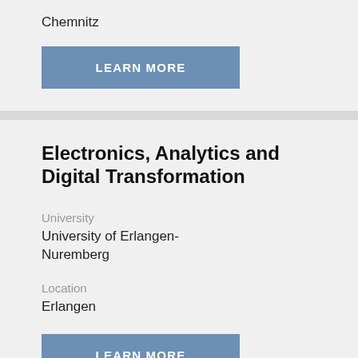Chemnitz
LEARN MORE
Electronics, Analytics and Digital Transformation
University
University of Erlangen-Nuremberg
Location
Erlangen
LEARN MORE